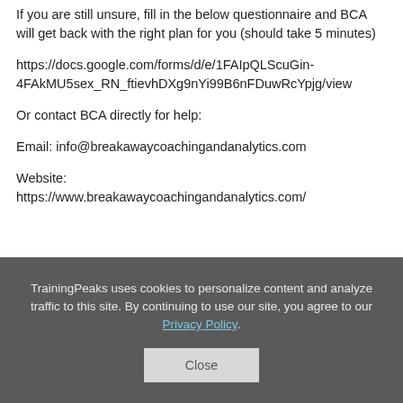If you are still unsure, fill in the below questionnaire and BCA will get back with the right plan for you (should take 5 minutes)
https://docs.google.com/forms/d/e/1FAIpQLScuGin-4FAkMU5sex_RN_ftievhDXg9nYi99B6nFDuwRcYpjg/view
Or contact BCA directly for help:
Email: info@breakawaycoachingandanalytics.com
Website: https://www.breakawaycoachingandanalytics.com/
TrainingPeaks uses cookies to personalize content and analyze traffic to this site. By continuing to use our site, you agree to our Privacy Policy.
Close